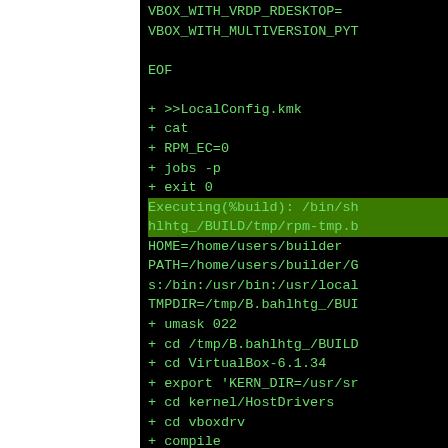VBOX_WITH_VRDP_RDESKTOP=
VBOX_WITH_MULTIVERSION_PYT

EOF

+ >>LocalConfig.kmk
+ cat
+ RPM_EC=0
+ jobs -p
+ exit 0
Executing(%build): /bin/sh
hlhtg_/BUILD/tmp/rpm-tmp.b
HOME=/home/users/builder
PATH=/home/users/builder/G
s:/bin:/usr/bin:/usr/local
TMPDIR=/tmp/B.bahlhtg_/BUI
+ umask 022
+ cd /tmp/B.bahlhtg_/BUILD
+ cd VirtualBox-6.1.34
+ export 'KERN_DIR=/usr/sr
+ cd kernel/HostDrivers
+ cd vboxdrv
+ compile
+ typeset 'L=<' PATCH_SH